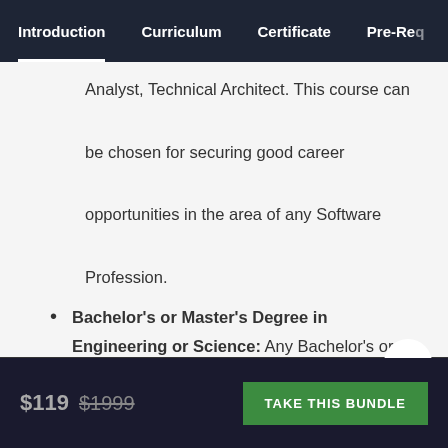Introduction | Curriculum | Certificate | Pre-Req
Analyst, Technical Architect. This course can be chosen for securing good career opportunities in the area of any Software Profession.
Bachelor's or Master's Degree in Engineering or Science: Any Bachelor's or Master's Degree in Engineering or Science
This website or its third-party tools use cookies, which are necessary to its functioning and required to achieve the purposes illustrated in the cookie policy. By closing this banner, scrolling this page, clicking a link or continuing to browse otherwise, you agree to our Privacy Policy
$119 $1999  TAKE THIS BUNDLE